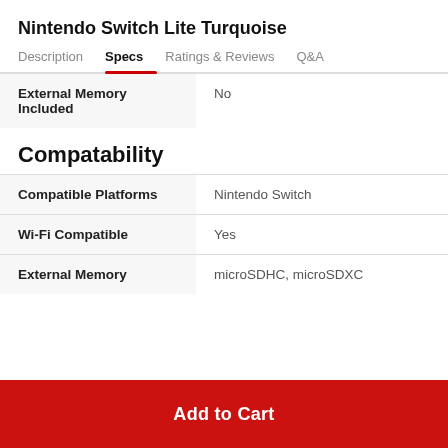Nintendo Switch Lite Turquoise
Description  Specs  Ratings & Reviews  Q&A
|  |  |
| --- | --- |
| External Memory Included | No |
Compatability
|  |  |
| --- | --- |
| Compatible Platforms | Nintendo Switch |
| Wi-Fi Compatible | Yes |
| External Memory | microSDHC, microSDXC |
Add to Cart